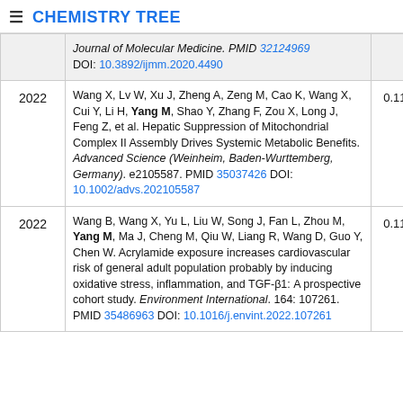CHEMISTRY TREE
| Year | Reference | Score |
| --- | --- | --- |
|  | Journal of Molecular Medicine. PMID 32124969 DOI: 10.3892/ijmm.2020.4490 |  |
| 2022 | Wang X, Lv W, Xu J, Zheng A, Zeng M, Cao K, Wang X, Cui Y, Li H, Yang M, Shao Y, Zhang F, Zou X, Long J, Feng Z, et al. Hepatic Suppression of Mitochondrial Complex II Assembly Drives Systemic Metabolic Benefits. Advanced Science (Weinheim, Baden-Wurttemberg, Germany). e2105587. PMID 35037426 DOI: 10.1002/advs.202105587 | 0.118 |
| 2022 | Wang B, Wang X, Yu L, Liu W, Song J, Fan L, Zhou M, Yang M, Ma J, Cheng M, Qiu W, Liang R, Wang D, Guo Y, Chen W. Acrylamide exposure increases cardiovascular risk of general adult population probably by inducing oxidative stress, inflammation, and TGF-β1: A prospective cohort study. Environment International. 164: 107261. PMID 35486963 DOI: 10.1016/j.envint.2022.107261 | 0.118 |